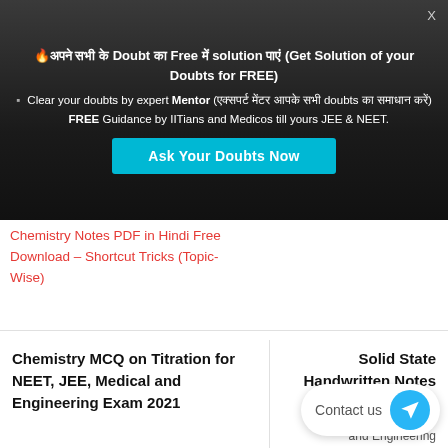X
🔥अपने सभी के Doubt का Free में solution पाएं (Get Solution of your Doubts for FREE)
Clear your doubts by expert Mentor (एक्सपर्ट मेंटर आपके सभी doubts का समाधान करें)
FREE Guidance by IITians and Medicos till yours JEE & NEET.
Ask Your Doubts Now
Chemistry Notes PDF in Hindi Free Download – Shortcut Tricks (Topic-Wise)
Chemistry MCQ on Titration for NEET, JEE, Medical and Engineering Exam 2021
Solid State Handwritten Notes PDF for Class NEET, JEE, Medical and Engineering
Contact us